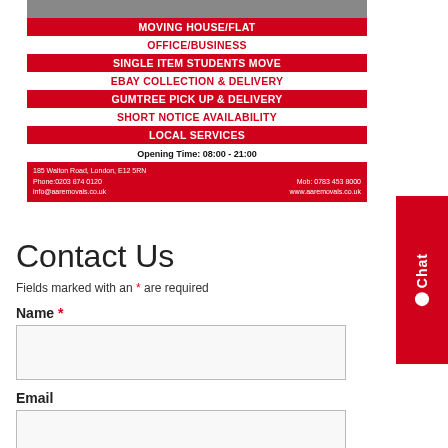[Figure (infographic): AA Removals advertisement banner with photo of van at top, red and white alternating service rows (MOVING HOUSE/FLAT, OFFICE/BUSINESS, SINGLE ITEM STUDENTS MOVE, EBAY COLLECTION & DELIVERY, GUMTREE PICK UP & DELIVERY, SHORT NOTICE AVAILABILITY, LOCAL SERVICES), opening times, and contact footer.]
Contact Us
Fields marked with an * are required
Name *
Email